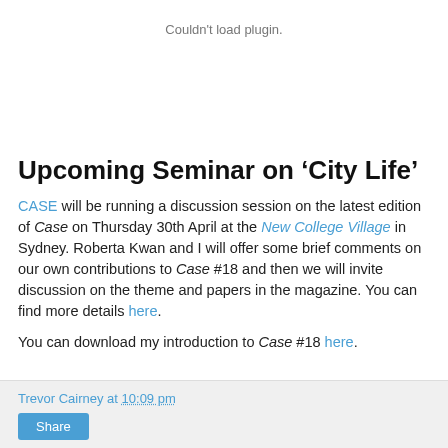[Figure (other): Plugin placeholder area displaying 'Couldn't load plugin.' error message]
Upcoming Seminar on ‘City Life’
CASE will be running a discussion session on the latest edition of Case on Thursday 30th April at the New College Village in Sydney. Roberta Kwan and I will offer some brief comments on our own contributions to Case #18 and then we will invite discussion on the theme and papers in the magazine. You can find more details here.
You can download my introduction to Case #18 here.
Trevor Cairney at 10:09 pm  Share